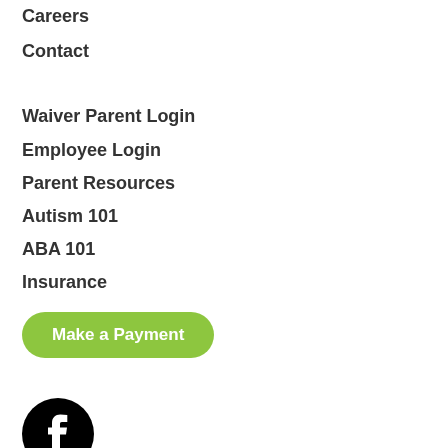Careers
Contact
Waiver Parent Login
Employee Login
Parent Resources
Autism 101
ABA 101
Insurance
Make a Payment
[Figure (logo): Facebook logo icon — black circle with white 'f' letterform]